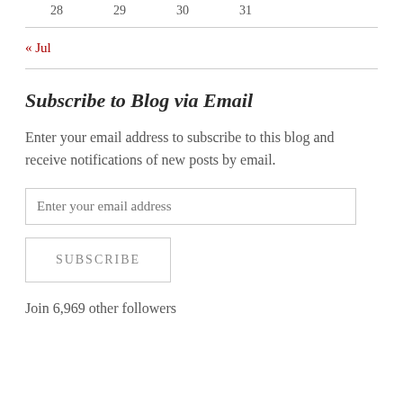| 28 | 29 | 30 | 31 |
« Jul
Subscribe to Blog via Email
Enter your email address to subscribe to this blog and receive notifications of new posts by email.
Enter your email address
SUBSCRIBE
Join 6,969 other followers